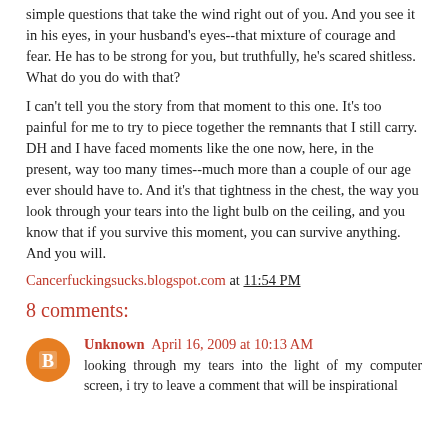simple questions that take the wind right out of you. And you see it in his eyes, in your husband's eyes--that mixture of courage and fear. He has to be strong for you, but truthfully, he's scared shitless. What do you do with that?
I can't tell you the story from that moment to this one. It's too painful for me to try to piece together the remnants that I still carry. DH and I have faced moments like the one now, here, in the present, way too many times--much more than a couple of our age ever should have to. And it's that tightness in the chest, the way you look through your tears into the light bulb on the ceiling, and you know that if you survive this moment, you can survive anything. And you will.
Cancerfuckingsucks.blogspot.com at 11:54 PM
8 comments:
Unknown April 16, 2009 at 10:13 AM
looking through my tears into the light of my computer screen, i try to leave a comment that will be inspirational